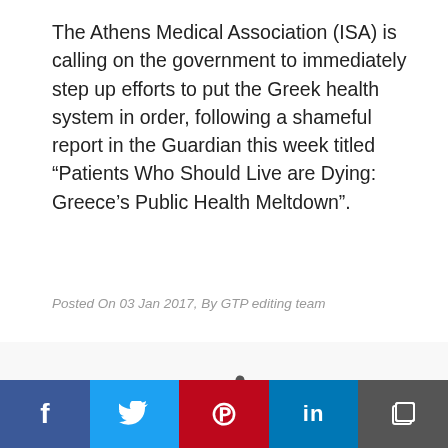The Athens Medical Association (ISA) is calling on the government to immediately step up efforts to put the Greek health system in order, following a shameful report in the Guardian this week titled “Patients Who Should Live are Dying: Greece’s Public Health Meltdown”.
Posted On 03 Jan 2017, By GTP editing team
[Figure (photo): A stethoscope draped over a small globe showing a world map, on a white background.]